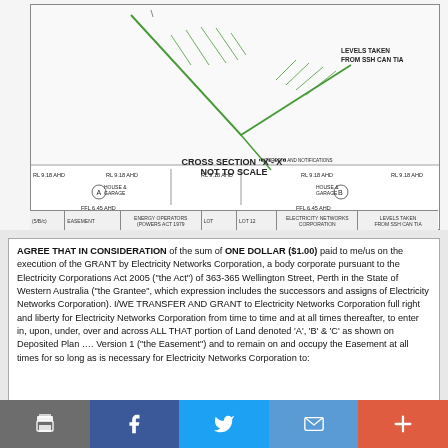[Figure (engineering-diagram): Cross section engineering diagram showing house/garage structures A, B, C with levels in AHD. Labels: RL 9.18 AHD, FFL 6.45 AHD, GL 6.22/6.32/6.34/6.35 AHD. Cross Section X-X Not to Scale. Table row at bottom with easement, Energy Operators Powers Act 1979, lot, Electricity Networks Corporation, Levels taken from SSH CAN TIA.]
AGREE THAT IN CONSIDERATION of the sum of ONE DOLLAR ($1.00) paid to me/us on the execution of the GRANT by Electricity Networks Corporation, a body corporate pursuant to the Electricity Corporations Act 2005 ('the Act') of 363-365 Wellington Street, Perth in the State of Western Australia ('the Grantee', which expression includes the successors and assigns of Electricity Networks Corporation). I/WE TRANSFER AND GRANT to Electricity Networks Corporation full right and liberty for Electricity Networks Corporation from time to time and at all times thereafter, to enter in, upon, under, over and across ALL THAT portion of Land denoted 'A', 'B' & 'C' as shown on Deposited Plan .... Version 1 ('the Easement') and to remain on and occupy the Easement at all times for so long as is necessary for Electricity Networks Corporation to: